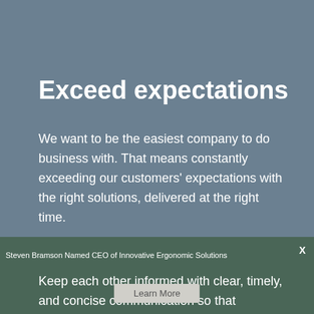Exceed expectations
We want to be the easiest company to do business with. That means constantly exceeding our customers' expectations with the right solutions, delivered at the right time.
Be open
Keep each other informed with clear, timely, and concise communication so that information is openly shared and
Steven Bramson Named CEO of Innovative Ergonomic Solutions
Learn More